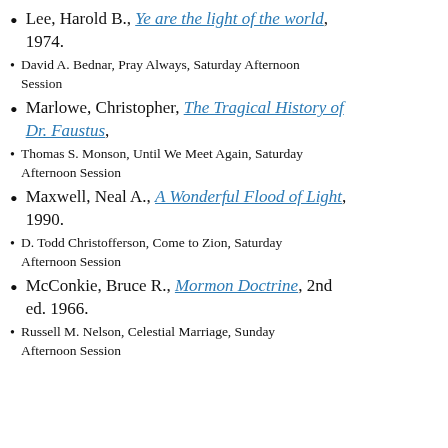Lee, Harold B., Ye are the light of the world, 1974.
David A. Bednar, Pray Always, Saturday Afternoon Session
Marlowe, Christopher, The Tragical History of Dr. Faustus,
Thomas S. Monson, Until We Meet Again, Saturday Afternoon Session
Maxwell, Neal A., A Wonderful Flood of Light, 1990.
D. Todd Christofferson, Come to Zion, Saturday Afternoon Session
McConkie, Bruce R., Mormon Doctrine, 2nd ed. 1966.
Russell M. Nelson, Celestial Marriage, Sunday Afternoon Session